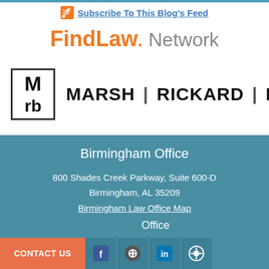Subscribe To This Blog's Feed
[Figure (logo): FindLaw Network logo with orange FindLaw text and gray Network text]
[Figure (logo): Marsh Rickard Bryan law firm logo with MRB initials in a box]
Birmingham Office
800 Shades Creek Parkway, Suite 600-D
Birmingham, AL 35209
Birmingham Law Office Map
CONTACT US
Office